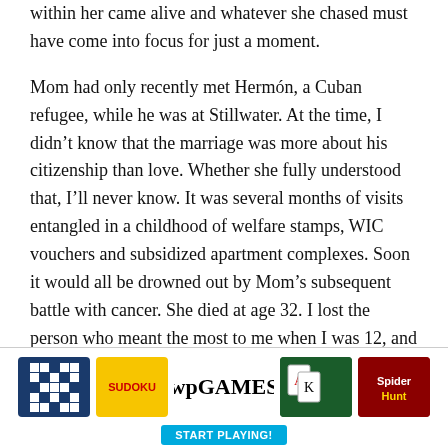within her came alive and whatever she chased must have come into focus for just a moment.
Mom had only recently met Hermón, a Cuban refugee, while he was at Stillwater. At the time, I didn't know that the marriage was more about his citizenship than love. Whether she fully understood that, I'll never know. It was several months of visits entangled in a childhood of welfare stamps, WIC vouchers and subsidized apartment complexes. Soon it would all be drowned out by Mom's subsequent battle with cancer. She died at age 32. I lost the person who meant the most to me when I was 12, and a darkness grew within me.
It's all too simple to say my mom sealed my fate by taking me to Stillwater with her. In the street culture I grew up around, you didn't vilify prison, because you've known
[Figure (other): Washington Post Games advertisement banner with tiles for Crossword, Sudoku, WP Games logo, Spider Solitaire, and Hunt. Contains a 'START PLAYING!' button.]